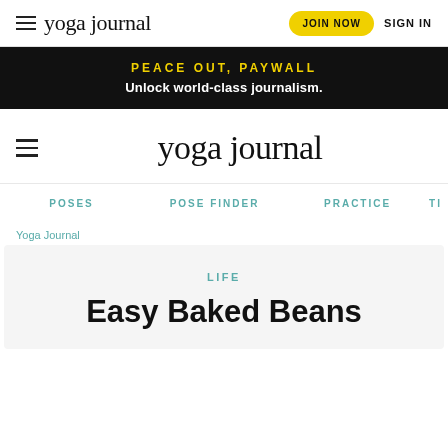yoga journal | JOIN NOW | SIGN IN
PEACE OUT, PAYWALL
Unlock world-class journalism.
[Figure (logo): yoga journal logo centered with hamburger menu icon on the left]
POSES | POSE FINDER | PRACTICE | TI
Yoga Journal
LIFE
Easy Baked Beans